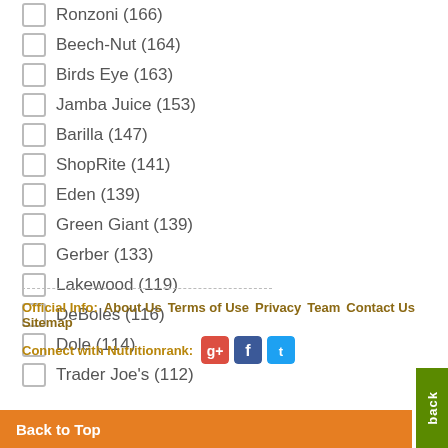Ronzoni (166)
Beech-Nut (164)
Birds Eye (163)
Jamba Juice (153)
Barilla (147)
ShopRite (141)
Eden (139)
Green Giant (139)
Gerber (133)
Lakewood (119)
DeBoles (116)
Dole (114)
Trader Joe's (112)
Official Info: About Us  Terms of Use  Privacy  Team  Contact Us  Sitemap
Connect with Nutritionrank: